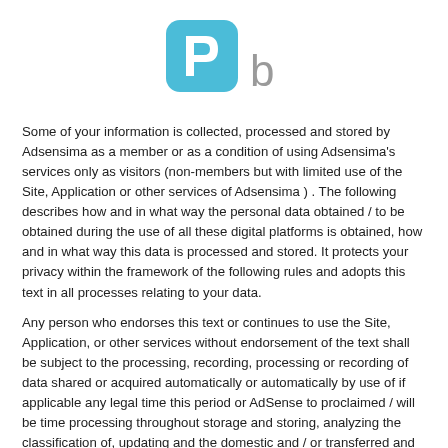[Figure (logo): Adsensima / PB logo — a blue rounded square with a white 'P' shape inside, followed by a gray lowercase 'b']
Some of your information is collected, processed and stored by Adsensima as a member or as a condition of using Adsensima's services only as visitors (non-members but with limited use of the Site, Application or other services of Adsensima ) . The following describes how and in what way the personal data obtained / to be obtained during the use of all these digital platforms is obtained, how and in what way this data is processed and stored. It protects your privacy within the framework of the following rules and adopts this text in all processes relating to your data.
Any person who endorses this text or continues to use the Site, Application, or other services without endorsement of the text shall be subject to the processing, recording, processing or recording of data shared or acquired automatically or automatically by use of if applicable any legal time this period or AdSense to proclaimed / will be time processing throughout storage and storing, analyzing the classification of, updating and the domestic and / or transferred and shared data and processes at the AdSense throughout this legal...